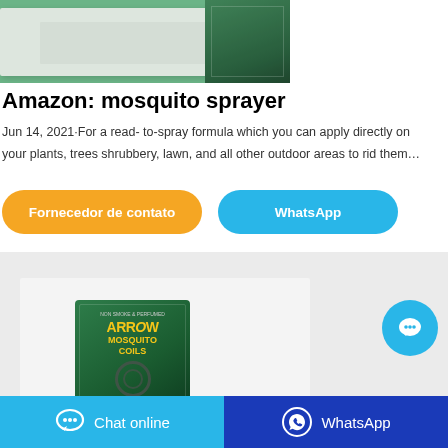[Figure (photo): Product photo showing white fabric/paper sheets and a green packaged product (mosquito-related) on a teal surface]
Amazon: mosquito sprayer
Jun 14, 2021·For a read- to-spray formula which you can apply directly on your plants, trees shrubbery, lawn, and all other outdoor areas to rid them…
Fornecedor de contato
WhatsApp
[Figure (photo): Arrow Mosquito Coils product box on a light gray card background]
[Figure (other): Blue circular chat bubble button with ellipsis icon]
Chat online
WhatsApp